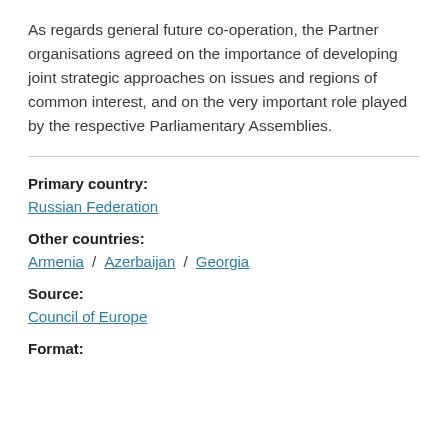As regards general future co-operation, the Partner organisations agreed on the importance of developing joint strategic approaches on issues and regions of common interest, and on the very important role played by the respective Parliamentary Assemblies.
Primary country:
Russian Federation
Other countries:
Armenia / Azerbaijan / Georgia
Source:
Council of Europe
Format: